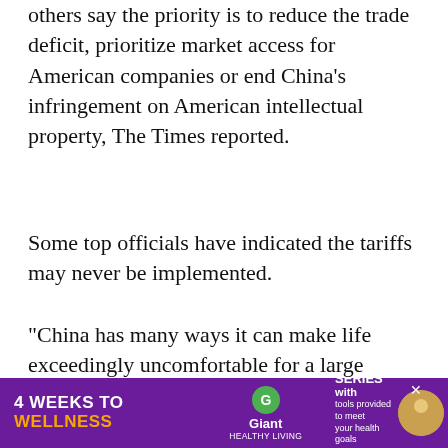others say the priority is to reduce the trade deficit, prioritize market access for American companies or end China's infringement on American intellectual property, The Times reported.
Some top officials have indicated the tariffs may never be implemented.
“China has many ways it can make life exceedingly uncomfortable for a large number of American businesses,” said Eswar Prasad, a professor of international trade at Cornell University. “Both those
[Figure (other): Advertisement banner: '4 WEEKS TO WELLNESS' with Giant Healthy Living logo, offering a FREE SERIES with tools provided to meet your health goals. Register Here button. Close (x) button in top right.]